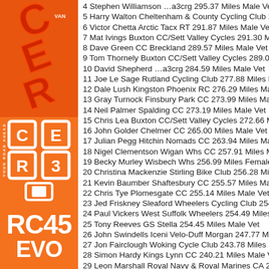[Figure (logo): Cycling event logo top section with red diagonal letters on orange background]
[Figure (logo): CER30 logo with orange squares and white outlines, YOUR ROAD AHEAD text]
RC45
EVO
4 Stephen Williamson …a3crg 295.37 Miles Male Vet
5 Harry Walton Cheltenham & County Cycling Club 293.76 Miles
6 Victor Chetta Arctic Tacx RT 291.87 Miles Male Vet
7 Mat Ivings Buxton CC/Sett Valley Cycles 291.30 Miles Male
8 Dave Green CC Breckland 289.57 Miles Male Vet
9 Tom Thornely Buxton CC/Sett Valley Cycles 289.05 Miles M
10 David Shepherd …a3crg 284.59 Miles Male Vet
11 Joe Le Sage Rutland Cycling Club 277.88 Miles Male Vet
12 Dale Lush Kingston Phoenix RC 276.29 Miles Male Senior
13 Gray Turnock Finsbury Park CC 273.99 Miles Male Vet
14 Neil Palmer Spalding CC 273.19 Miles Male Vet
15 Chris Lea Buxton CC/Sett Valley Cycles 272.66 Miles Male
16 John Golder Chelmer CC 265.00 Miles Male Vet
17 Julian Pegg Hitchin Nomads CC 263.94 Miles Male Vet
18 Nigel Clementson Wigan Whs CC 257.91 Miles Male Vet
19 Becky Murley Wisbech Whs 256.99 Miles Female Vet
20 Christina Mackenzie Stirling Bike Club 256.28 Miles Female
21 Kevin Baumber Shaftesbury CC 255.57 Miles Male Vet
22 Chris Tye Plomesgate CC 255.14 Miles Male Vet
23 Jed Friskney Sleaford Wheelers Cycling Club 254.91 Miles
24 Paul Vickers West Suffolk Wheelers 254.49 Miles Male Ve
25 Tony Reeves GS Stella 254.45 Miles Male Vet
26 John Swindells Iceni Velo-Duff Morgan 247.77 Miles Male
27 Jon Fairclough Woking Cycle Club 243.78 Miles Male Vet
28 Simon Hardy Kings Lynn CC 240.21 Miles Male Vet
29 Leon Marshall Royal Navy & Royal Marines CA 230.77 Miles M